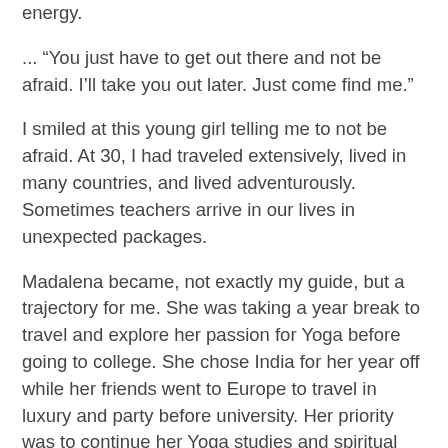energy.
... “You just have to get out there and not be afraid. I’ll take you out later. Just come find me.”
I smiled at this young girl telling me to not be afraid. At 30, I had traveled extensively, lived in many countries, and lived adventurously. Sometimes teachers arrive in our lives in unexpected packages.
Madalena became, not exactly my guide, but a trajectory for me. She was taking a year break to travel and explore her passion for Yoga before going to college. She chose India for her year off while her friends went to Europe to travel in luxury and party before university. Her priority was to continue her Yoga studies and spiritual journey. She had recently dyed her hair. Its coarse nature and golden hue transformed her into a lion with a wild mane.
Madalena felt a profound connection to Swami Satchidananda during her time at Yogaville, his ashram...